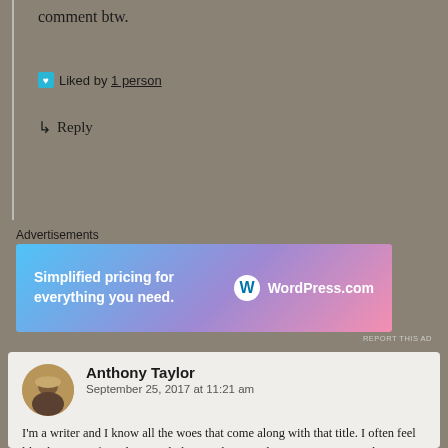comment btw.
Liked by 1 person
↳ Reply
Advertisements
[Figure (infographic): WordPress.com advertisement banner with gradient blue-purple-pink background. Text reads: Simplified pricing for everything you need. WordPress.com logo on the right.]
REPORT THIS AD
Anthony Taylor
September 25, 2017 at 11:21 am
I'm a writer and I know all the woes that come along with that title. I often feel like that one gif you have with the guy throwing his computer across the room! I have a draft of a book I created